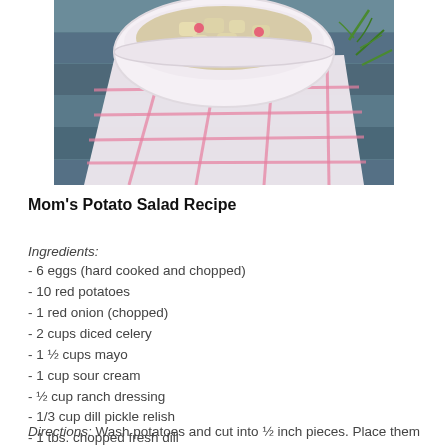[Figure (photo): A white bowl of potato salad on a pink and white checkered cloth on a wooden table, with fresh dill visible in the background.]
Mom's Potato Salad Recipe
Ingredients:
- 6 eggs (hard cooked and chopped)
- 10 red potatoes
- 1 red onion (chopped)
- 2 cups diced celery
- 1 ½ cups mayo
- 1 cup sour cream
-  ½ cup ranch dressing
- 1/3 cup dill pickle relish
- 1 tbs. chopped fresh dill
- ½ tsp. ground black pepper
- 1 tsp. salt
Directions: Wash potatoes and cut into ½ inch pieces. Place them in a